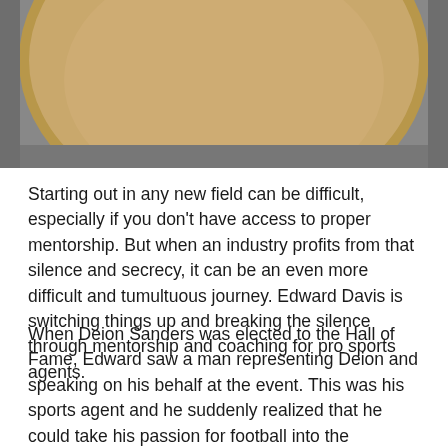[Figure (photo): Close-up photo of a round tan/beige colored bowl or plate against a gray surface, showing the curved rim and interior of the bowl from above.]
Starting out in any new field can be difficult, especially if you don't have access to proper mentorship. But when an industry profits from that silence and secrecy, it can be an even more difficult and tumultuous journey. Edward Davis is switching things up and breaking the silence through mentorship and coaching for pro sports agents.
When Deion Sanders was elected to the Hall of Fame, Edward saw a man representing Deion and speaking on his behalf at the event. This was his sports agent and he suddenly realized that he could take his passion for football into the professional world without being an athlete. But the road to becoming an agent was hard